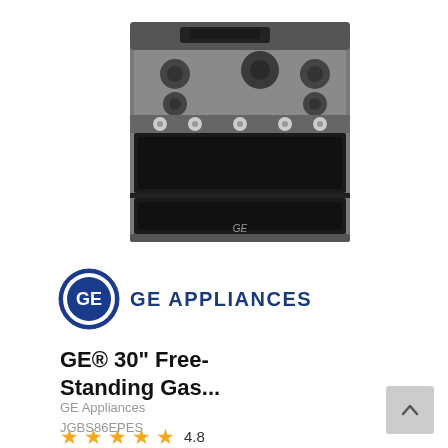[Figure (photo): GE free-standing gas range with double oven in slate/dark finish, front view showing gas burners on top and two oven compartments below]
[Figure (logo): GE Appliances logo: circular GE monogram badge in blue followed by 'GE APPLIANCES' text in bold dark blue]
GE® 30" Free-Standing Gas...
GE Appliances
JGBS86EPES
★★★★★ 4.8